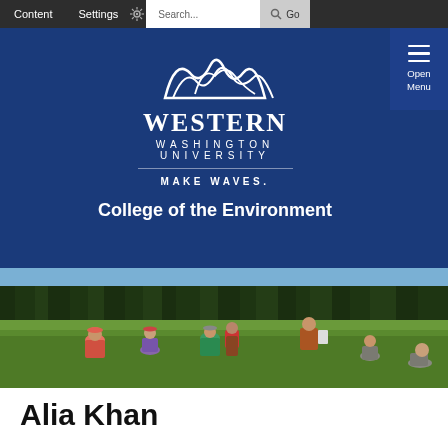Content  Settings  Search  Go
[Figure (logo): Western Washington University logo with mountain/wave graphic above text reading WESTERN WASHINGTON UNIVERSITY, MAKE WAVES.]
College of the Environment
[Figure (photo): Students conducting field research in a green meadow with conifer forest in background. Multiple students bending down to examine vegetation.]
Alia Khan